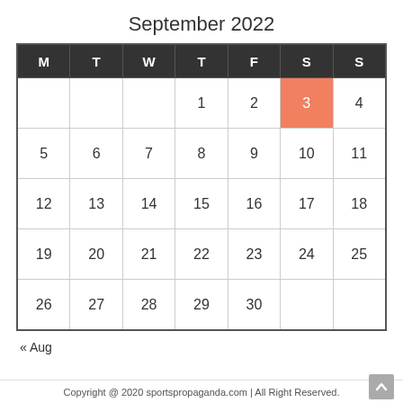September 2022
| M | T | W | T | F | S | S |
| --- | --- | --- | --- | --- | --- | --- |
|  |  |  | 1 | 2 | 3 | 4 |
| 5 | 6 | 7 | 8 | 9 | 10 | 11 |
| 12 | 13 | 14 | 15 | 16 | 17 | 18 |
| 19 | 20 | 21 | 22 | 23 | 24 | 25 |
| 26 | 27 | 28 | 29 | 30 |  |  |
« Aug
Copyright @ 2020 sportspropaganda.com | All Right Reserved.